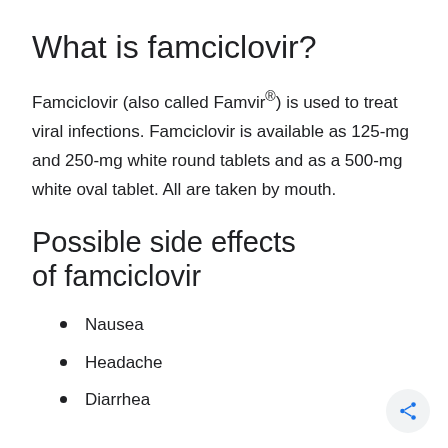What is famciclovir?
Famciclovir (also called Famvir®) is used to treat viral infections. Famciclovir is available as 125-mg and 250-mg white round tablets and as a 500-mg white oval tablet. All are taken by mouth.
Possible side effects of famciclovir
Nausea
Headache
Diarrhea